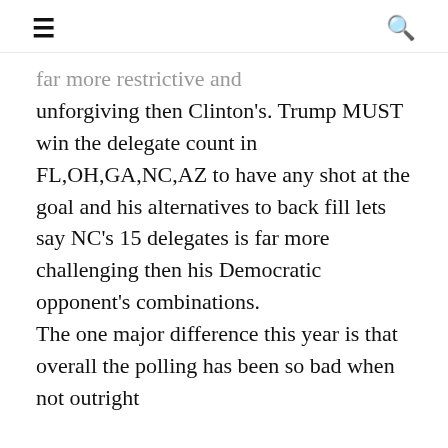≡  🔍
far more restrictive and unforgiving then Clinton's. Trump MUST win the delegate count in FL,OH,GA,NC,AZ to have any shot at the goal and his alternatives to back fill lets say NC's 15 delegates is far more challenging then his Democratic opponent's combinations.
The one major difference this year is that overall the polling has been so bad when not outright